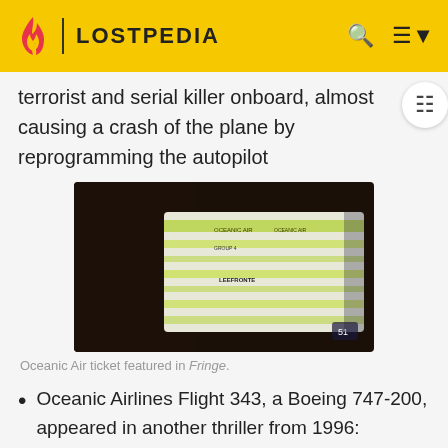LOSTPEDIA
terrorist and serial killer onboard, almost causing a crash of the plane by reprogramming the autopilot
[Figure (photo): Oceanic Air boarding ticket/pass being held, showing green and white ticket with 'Oceanic Air' branding, featured in Fringe]
Oceanic Air ticket featured in Fringe.
Oceanic Airlines Flight 343, a Boeing 747-200, appeared in another thriller from 1996: Executive Decision
Oceanic Airlines Flight 760, a Boeing 747-47 features in the drama series "Category 6 – Day of Destruction". The plane is struck by lightning and forced to take emergency procedures.